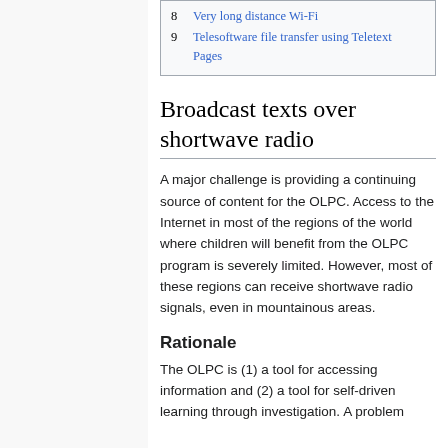8 Very long distance Wi-Fi
9 Telesoftware file transfer using Teletext Pages
Broadcast texts over shortwave radio
A major challenge is providing a continuing source of content for the OLPC. Access to the Internet in most of the regions of the world where children will benefit from the OLPC program is severely limited. However, most of these regions can receive shortwave radio signals, even in mountainous areas.
Rationale
The OLPC is (1) a tool for accessing information and (2) a tool for self-driven learning through investigation. A problem